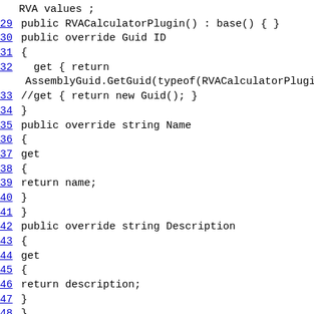RVA values ;
29 public RVACalculatorPlugin() : base() { }
30 public override Guid ID
31 {
32   get { return AssemblyGuid.GetGuid(typeof(RVACalculatorPlugin)); }
33 //get { return new Guid(); }
34 }
35 public override string Name
36 {
37 get
38 {
39 return name;
40 }
41 }
42 public override string Description
43 {
44 get
45 {
46 return description;
47 }
48 }
49 public override void Reload(bool silent)
50 {
51 }
52